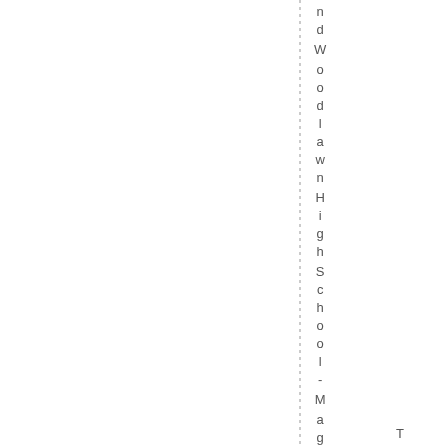ndWoodlawnHighSchool-Magnet. T